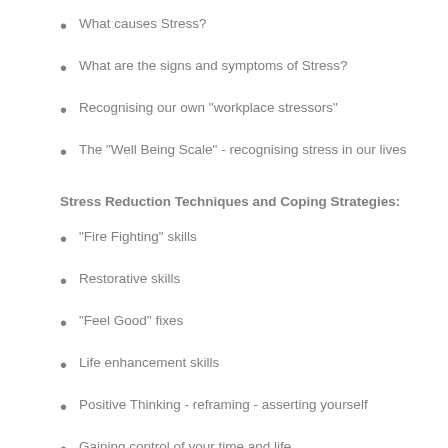What causes Stress?
What are the signs and symptoms of Stress?
Recognising our own "workplace stressors"
The "Well Being Scale" - recognising stress in our lives
Stress Reduction Techniques and Coping Strategies:
"Fire Fighting" skills
Restorative skills
"Feel Good" fixes
Life enhancement skills
Positive Thinking - reframing - asserting yourself
Gaining control of your time and life